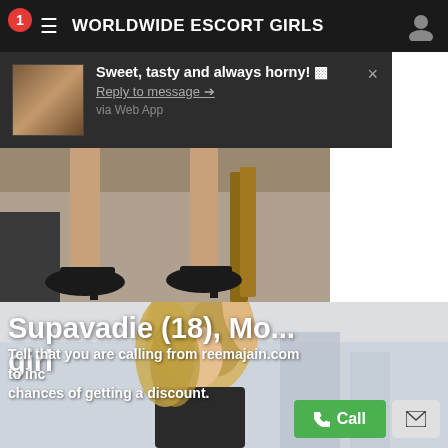WORLDWIDE ESCORT GIRLS
[Figure (screenshot): Push notification popup showing thumbnail and message 'Sweet, tasty and always horny!' with Reply to message link and 'via Web App' text]
[Figure (photo): Photo of legs in black high heels on carpet, top portion of listing]
[Figure (photo): Photo of blonde woman for escort listing, bottom portion]
Supavadie (18), Mo... girl
Tell that you are calling from reemajain.com to inc chances of getting a discount.